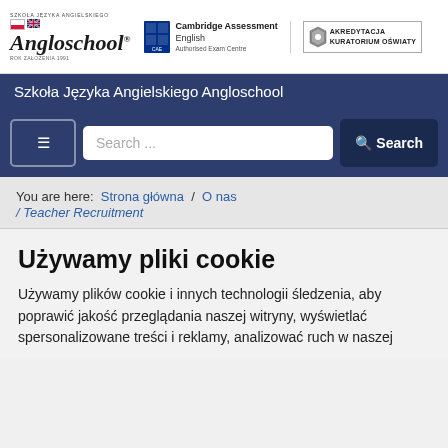[Figure (logo): Angloschool logo with Polish and UK flags, Cambridge Assessment English Authorised Exam Centre logo, and Akredytacja Kuratorium Oświaty seal]
Szkoła Języka Angielskiego Angloschool
[Figure (screenshot): Navigation bar with hamburger menu button, search input field, and Search button]
You are here: Strona główna / O nas / Teacher Recruitment
Używamy pliki cookie
Używamy plików cookie i innych technologii śledzenia, aby poprawić jakość przeglądania naszej witryny, wyświetlać spersonalizowane treści i reklamy, analizować ruch w naszej